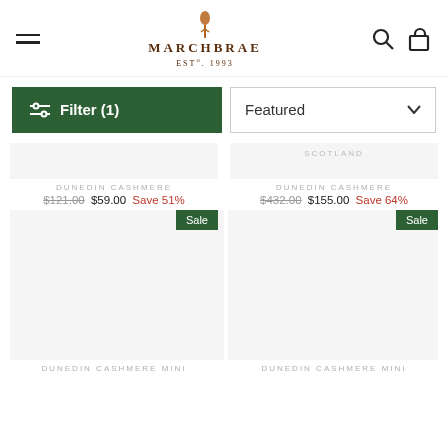[Figure (logo): Marchbrae logo with thistle icon, text MARCHBRAE EST°. 1993]
Filter (1)
Featured
SCOTLAND
DUNEDIN CASHMERE
$432.00  $155.00  Save 64%
DUNEDIN CASHMERE
$121.00  $59.00  Save 51%
Sale
Sale
DUNEDIN CASHMERE MINI
DUNEDIN CASHMERE MINI